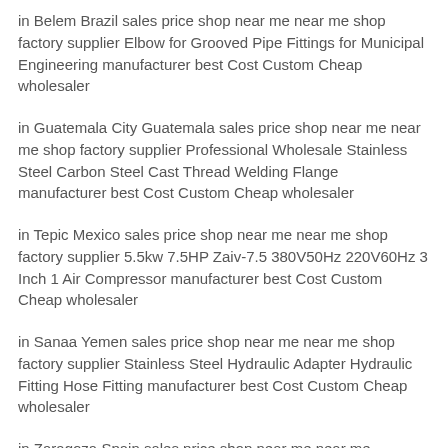in Belem Brazil sales price shop near me near me shop factory supplier Elbow for Grooved Pipe Fittings for Municipal Engineering manufacturer best Cost Custom Cheap wholesaler
in Guatemala City Guatemala sales price shop near me near me shop factory supplier Professional Wholesale Stainless Steel Carbon Steel Cast Thread Welding Flange manufacturer best Cost Custom Cheap wholesaler
in Tepic Mexico sales price shop near me near me shop factory supplier 5.5kw 7.5HP Zaiv-7.5 380V50Hz 220V60Hz 3 Inch 1 Air Compressor manufacturer best Cost Custom Cheap wholesaler
in Sanaa Yemen sales price shop near me near me shop factory supplier Stainless Steel Hydraulic Adapter Hydraulic Fitting Hose Fitting manufacturer best Cost Custom Cheap wholesaler
in Zaragoza Spain sales price shop near me near me